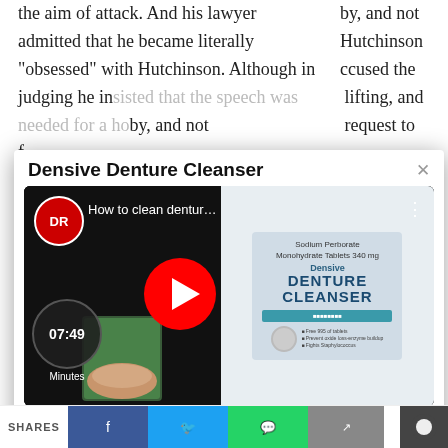the aim of attack. And his lawyer admitted that he became literally "obsessed" with Hutchinson. Although in judging he insisted that the speech was needed for a hobby, and not f... Hutchinson k... ccused the c... lifting, and b... request to i...
[Figure (screenshot): A popup modal overlay showing a YouTube video thumbnail for 'Densive Denture Cleanser' - How to clean dentures video (07:49 minutes), with a red Watch The Video button and 'powered by dental.cx' text]
[Figure (illustration): Accessibility icon (wheelchair user symbol) in red circle]
"... a h... s r... every s to do some h... ne a more s ay Jenkins.
SHARES